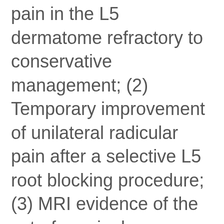pain in the L5 dermatome refractory to conservative management; (2) Temporary improvement of unilateral radicular pain after a selective L5 root blocking procedure; (3) MRI evidence of the extraforaminal compression of L5 with the presence of bony compression positions